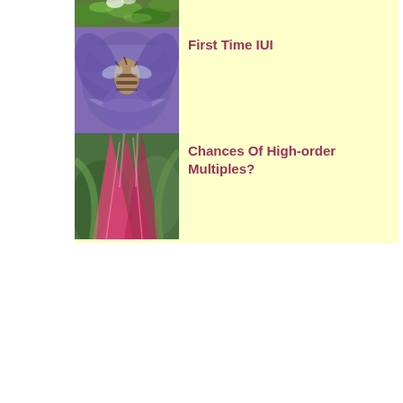[Figure (photo): Partial view of green leafy plant/flower, top of page]
[Figure (photo): Purple iris flower with bee/insect on it]
First Time IUI
[Figure (photo): Pink and green tropical plant leaves]
Chances Of High-order Multiples?